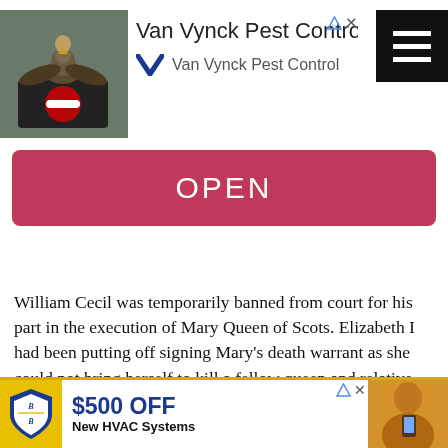[Figure (screenshot): Ad banner for Van Vynck Pest Control with bird image, logo, triangular play icon, X close icon, and hamburger menu button]
[Figure (screenshot): Pink/crimson OPEN button]
William Cecil was temporarily banned from court for his part in the execution of Mary Queen of Scots. Elizabeth I had been putting off signing Mary's death warrant as she could not bring herself to kill a fellow queen and relative, and was also fearful of the consequences, but she did sign the warrant and gave it to William Davison, with
[Figure (screenshot): Bottom advertisement: $500 OFF New HVAC Systems with B&B shield logo and woman with phone photo]